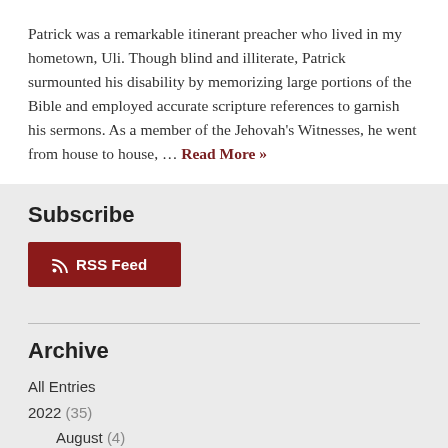Patrick was a remarkable itinerant preacher who lived in my hometown, Uli. Though blind and illiterate, Patrick surmounted his disability by memorizing large portions of the Bible and employed accurate scripture references to garnish his sermons. As a member of the Jehovah's Witnesses, he went from house to house, … Read More »
Subscribe
RSS Feed
Archive
All Entries
2022 (35)
August (4)
July (5)
June (4)